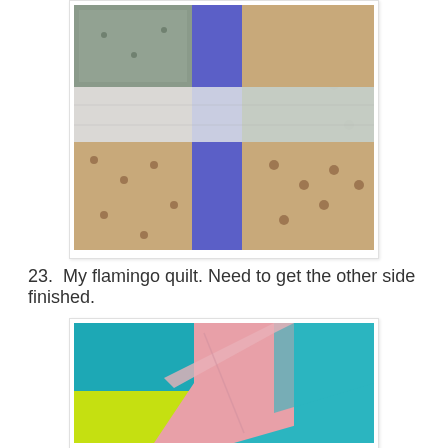[Figure (photo): Close-up photo of a patchwork quilt with blue strip, white, brown floral, green patterned, and grey patterned fabric squares arranged in a grid pattern.]
23.  My flamingo quilt. Need to get the other side finished.
[Figure (photo): Close-up photo of a flamingo quilt showing teal/turquoise, pink, and yellow-green fabric panels partially assembled.]